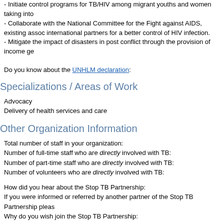- Initiate control programs for TB/HIV among migrant youths and women taking into
- Collaborate with the National Committee for the Fight against AIDS, existing assoc international partners for a better control of HIV infection.
- Mitigate the impact of disasters in post conflict through the provision of income ge
Do you know about the UNHLM declaration:
Specializations / Areas of Work
Advocacy
Delivery of health services and care
Other Organization Information
Total number of staff in your organization:
Number of full-time staff who are directly involved with TB:
Number of part-time staff who are directly involved with TB:
Number of volunteers who are directly involved with TB:
How did you hear about the Stop TB Partnership:
If you were informed or referred by another partner of the Stop TB Partnership pleas
Why do you wish join the Stop TB Partnership: